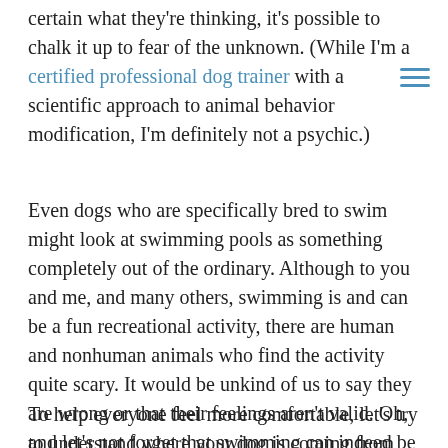certain what they're thinking, it's possible to chalk it up to fear of the unknown. (While I'm a certified professional dog trainer with a scientific approach to animal behavior modification, I'm definitely not a psychic.)
Even dogs who are specifically bred to swim might look at swimming pools as something completely out of the ordinary. Although to you and me, and many others, swimming is and can be a fun recreational activity, there are human and nonhuman animals who find the activity quite scary. It would be unkind of us to say they are wrong or that their feelings aren't valid. Oh, and let's not forget that swimming can indeed be dangerous — just look at the statistics of drowning victims.
To help everyone feel more comfortable, let's try to understand where your dog is coming from, and then do what you can to help him feel more at ease. This